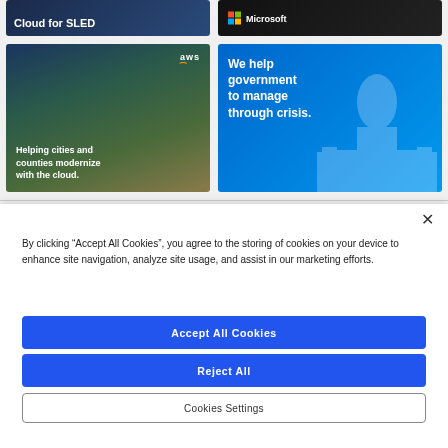[Figure (screenshot): Advertisement banner: Cloud for SLED (dark blue background with white bold text)]
[Figure (screenshot): Advertisement banner: Microsoft logo (colorful grid logo and Microsoft name on dark background)]
[Figure (screenshot): Advertisement banner: AWS - Helping cities and counties modernize with the cloud (city skyline at dusk with AWS logo)]
[Figure (screenshot): Advertisement banner: We help government to manage through crisis (blue background with Capitol building silhouette)]
By clicking “Accept All Cookies”, you agree to the storing of cookies on your device to enhance site navigation, analyze site usage, and assist in our marketing efforts.
Accept All Cookies
Reject All
Cookies Settings